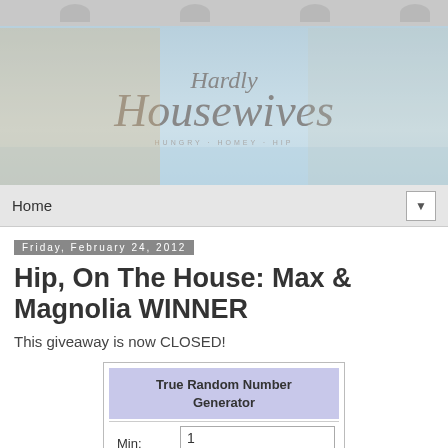[Figure (illustration): Hardly Housewives blog banner with two cartoon blonde women, one in business attire and one in apron, with decorative icons (plane, phone, clock, heart, book, food), city skyline background, and stylized text 'Hardly Housewives' with tagline 'HUNGRY · HOMEY · HIP']
Home
Friday, February 24, 2012
Hip, On The House: Max & Magnolia WINNER
This giveaway is now CLOSED!
| True Random Number Generator |
| --- |
| Min: | 1 |